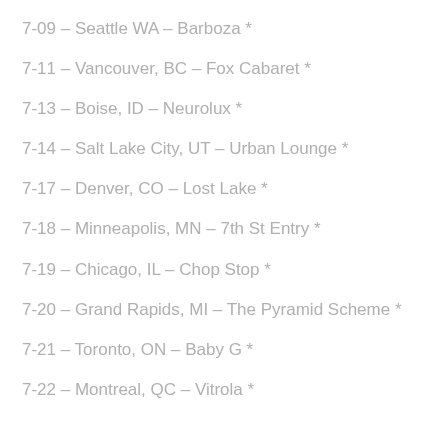7-09 – Seattle WA – Barboza *
7-11 – Vancouver, BC – Fox Cabaret *
7-13 – Boise, ID – Neurolux *
7-14 – Salt Lake City, UT – Urban Lounge *
7-17 – Denver, CO – Lost Lake *
7-18 – Minneapolis, MN – 7th St Entry *
7-19 – Chicago, IL – Chop Stop *
7-20 – Grand Rapids, MI – The Pyramid Scheme *
7-21 – Toronto, ON – Baby G *
7-22 – Montreal, QC – Vitrola *